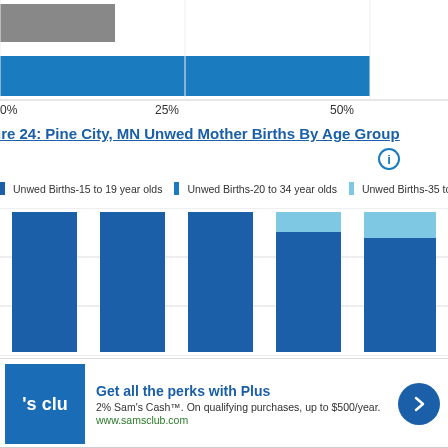[Figure (bar-chart): Partial horizontal bar chart showing top bars, with percentage axis labels at 0%, 25%, 50%]
Figure 24: Pine City, MN Unwed Mother Births By Age Group
[Figure (grouped-bar-chart): Stacked/grouped bar chart with three series: Unwed Births-15 to 19 year olds, Unwed Births-20 to 34 year olds, Unwed Births-35 to 5x year olds. Multiple year columns visible.]
[Figure (infographic): Advertisement banner: Sam's Club - Get all the perks with Plus. 2% Sam's Cash. On qualifying purchases, up to $500/year. www.samsclub.com]